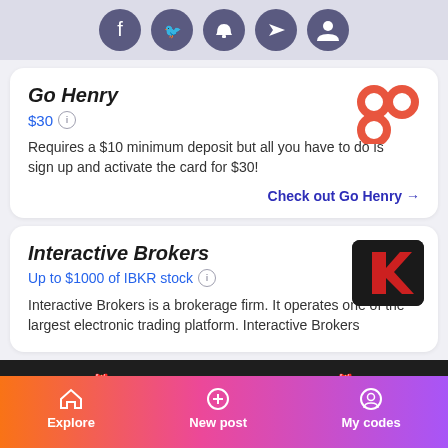[Figure (infographic): Social sharing icons (Facebook, Twitter, notification bell, forward, profile) as dark purple circles at top]
Go Henry
$30
Requires a $10 minimum deposit but all you have to do is sign up and activate the card for $30!
Check out Go Henry →
[Figure (logo): Go Henry logo: orange-red interlocked circles]
Interactive Brokers
Up to $1000 of IBKR stock
Interactive Brokers is a brokerage firm. It operates one of the largest electronic trading platform. Interactive Brokers
[Figure (logo): Interactive Brokers logo: red arrow shape on black background]
🎁 invite friends → earn rewards 🎁
Explore  New post  My codes